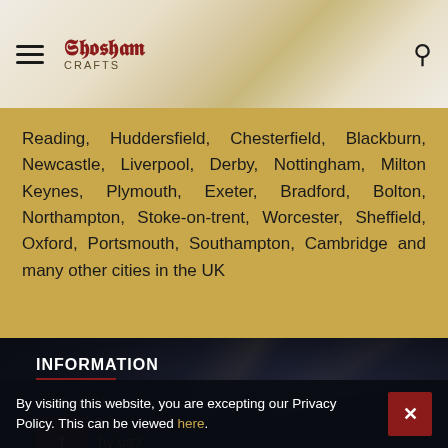Shosham Crafts — navigation header with hamburger menu and search icon
Reading, Huddersfield, Chesterfield, Blackburn, Newcastle, Liverpool, Derby, Nottingham, Milton Keynes, Plymouth, Exeter, Bradford, Bolton, Northampton, Stoke-on-trent, Worcester, Sheffield, Oxford, Portsmouth, Southampton, Cambridge and many other cities in the UK
INFORMATION
About Us
Why us?
FAQ
By visiting this website, you are excepting our Privacy Policy. This can be viewed here.